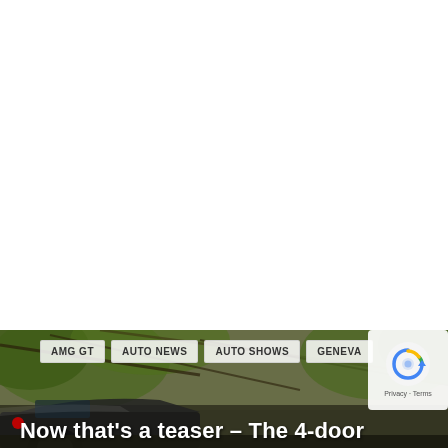[Figure (photo): White blank area at top of page, approximately two-thirds of the page height]
[Figure (photo): Car (dark colored vehicle, possibly Mercedes-AMG) partially visible at the bottom of the image in a forested/jungle setting with green foliage and branches in the background]
AMG GT
AUTO NEWS
AUTO SHOWS
GENEVA
Now that's a teaser – The 4-door